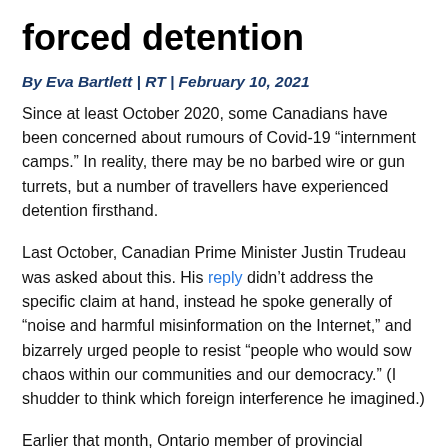forced detention
By Eva Bartlett | RT | February 10, 2021
Since at least October 2020, some Canadians have been concerned about rumours of Covid-19 “internment camps.” In reality, there may be no barbed wire or gun turrets, but a number of travellers have experienced detention firsthand.
Last October, Canadian Prime Minister Justin Trudeau was asked about this. His reply didn’t address the specific claim at hand, instead he spoke generally of “noise and harmful misinformation on the Internet,” and bizarrely urged people to resist “people who would sow chaos within our communities and our democracy.” (I shudder to think which foreign interference he imagined.)
Earlier that month, Ontario member of provincial